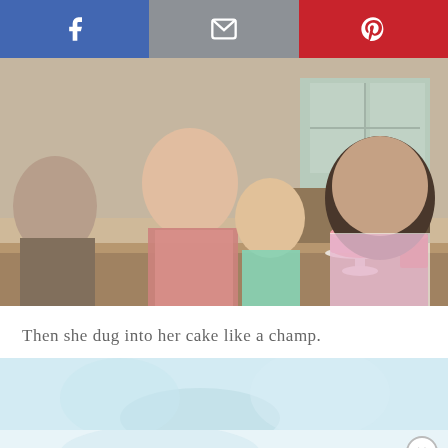[Figure (other): Social share bar with Facebook (blue), email/envelope (gray), and Pinterest (red) buttons]
[Figure (photo): Family photo: a man in plaid shirt, a woman in floral top holding a small girl in mint dress, and a boy on the left; a pink birthday cake with candle on a white cake stand on the table; indoor home setting]
Then she dug into her cake like a champ.
[Figure (photo): Blurred close-up photo, likely of the birthday cake or child eating, teal/blue tones]
[Figure (other): Close button (X) in a circle, bottom right corner]